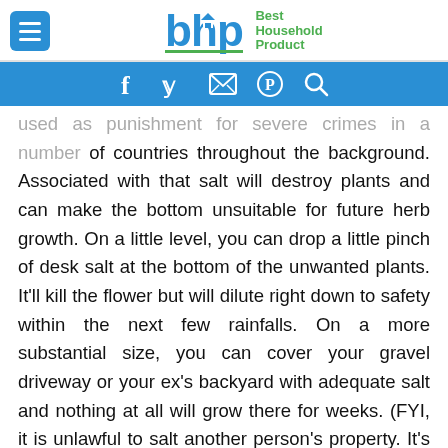Best Household Product
[Figure (logo): Best Household Product logo with bhp letters and social media icon bar]
used as punishment for severe crimes in a number of countries throughout the background. Associated with that salt will destroy plants and can make the bottom unsuitable for future herb growth. On a little level, you can drop a little pinch of desk salt at the bottom of the unwanted plants. It'll kill the flower but will dilute right down to safety within the next few rainfalls. On a more substantial size, you can cover your gravel driveway or your ex's backyard with adequate salt and nothing at all will grow there for weeks. (FYI, it is unlawful to salt another person's property. It's called vandalism.)